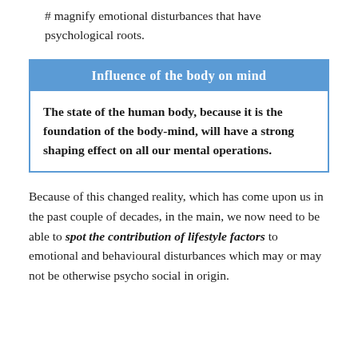# magnify emotional disturbances that have psychological roots.
| Influence of the body on mind |
| --- |
| The state of the human body, because it is the foundation of the body-mind, will have a strong shaping effect on all our mental operations. |
Because of this changed reality, which has come upon us in the past couple of decades, in the main, we now need to be able to spot the contribution of lifestyle factors to emotional and behavioural disturbances which may or may not be otherwise psycho social in origin.